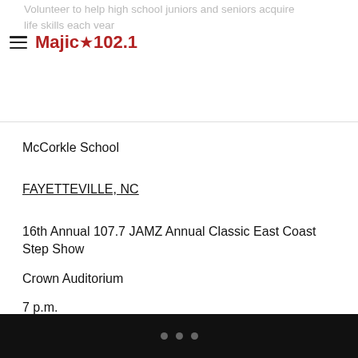Volunteer to help high school juniors and seniors acquire life skills each year
Majic 102.1
McCorkle School
FAYETTEVILLE, NC
16th Annual 107.7 JAMZ Annual Classic East Coast Step Show
Crown Auditorium
7 p.m.
ATLANTA, GA
Black Girls Run “Preserve the Sexy” Tour